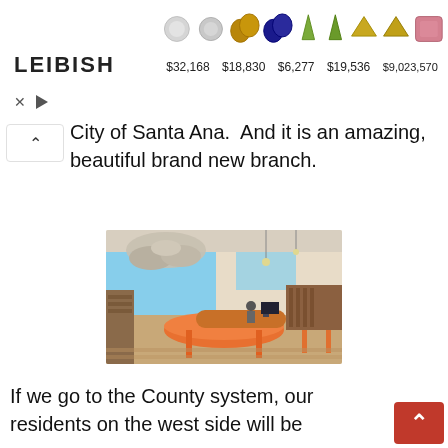[Figure (screenshot): Leibish jewelry advertisement banner showing gem stones and prices: $32,168, $18,830, $6,277, $19,536, $9,023,570]
City of Santa Ana.  And it is an amazing, beautiful brand new branch.
[Figure (photo): Interior photo of a modern library branch with orange furniture, circular desk, high ceilings with decorative lighting fixtures, and large windows]
If we go to the County system, our residents on the west side will be